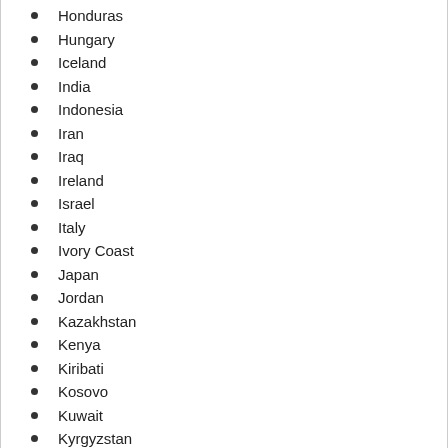Honduras
Hungary
Iceland
India
Indonesia
Iran
Iraq
Ireland
Israel
Italy
Ivory Coast
Japan
Jordan
Kazakhstan
Kenya
Kiribati
Kosovo
Kuwait
Kyrgyzstan
Laos
Latvia
Lebanon
Lesotho